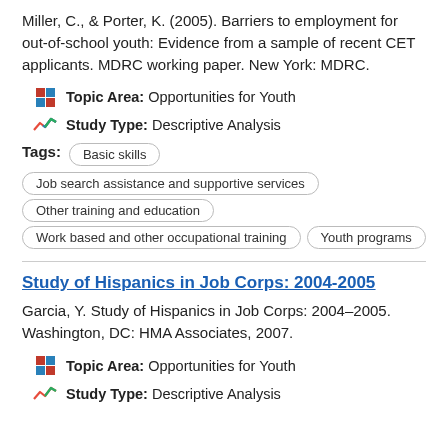Miller, C., & Porter, K. (2005). Barriers to employment for out-of-school youth: Evidence from a sample of recent CET applicants. MDRC working paper. New York: MDRC.
Topic Area: Opportunities for Youth
Study Type: Descriptive Analysis
Basic skills
Job search assistance and supportive services
Other training and education
Work based and other occupational training
Youth programs
Study of Hispanics in Job Corps: 2004-2005
Garcia, Y. Study of Hispanics in Job Corps: 2004–2005. Washington, DC: HMA Associates, 2007.
Topic Area: Opportunities for Youth
Study Type: Descriptive Analysis